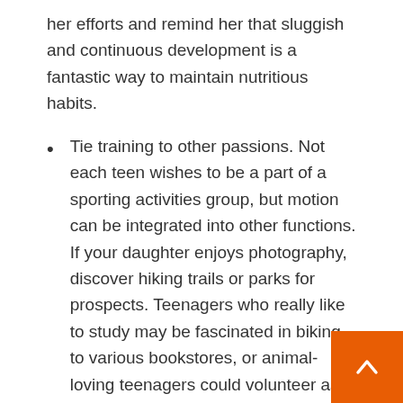her efforts and remind her that sluggish and continuous development is a fantastic way to maintain nutritious habits.
Tie training to other passions. Not each teen wishes to be a part of a sporting activities group, but motion can be integrated into other functions. If your daughter enjoys photography, discover hiking trails or parks for prospects. Teenagers who really like to study may be fascinated in biking to various bookstores, or animal-loving teenagers could volunteer as a pet dog walker at a nearby humane association.
Recall to verify with your daughter's principal care supplier about any fears you have before she starts a new work out program, primarily if she has a persistent health issue, like epilepsy, diabetic issues or